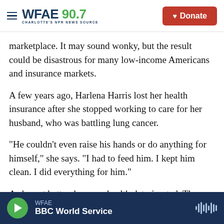WFAE 90.7 — CHARLOTTE'S NPR NEWS SOURCE | Donate
marketplace. It may sound wonky, but the result could be disastrous for many low-income Americans and insurance markets.
A few years ago, Harlena Harris lost her health insurance after she stopped working to care for her husband, who was battling lung cancer.
"He couldn't even raise his hands or do anything for himself," she says. "I had to feed him. I kept him clean. I did everything for him."
As he got better, her own health deteriorated. The
WFAE | BBC World Service